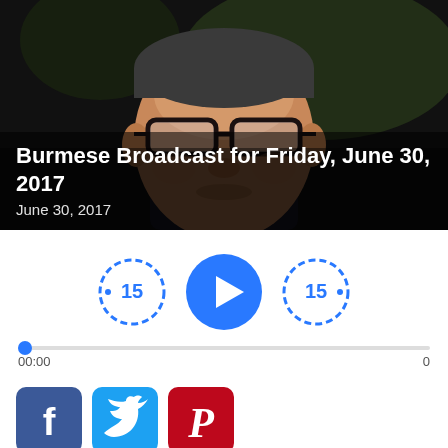[Figure (photo): Close-up photo of an elderly man with glasses, dark background]
Burmese Broadcast for Friday, June 30, 2017
June 30, 2017
[Figure (other): Audio player controls: skip back 15, play button, skip forward 15, progress bar showing 00:00 and 0]
[Figure (other): Social sharing buttons: Facebook, Twitter, Pinterest]
PODCAST
FREE MP3